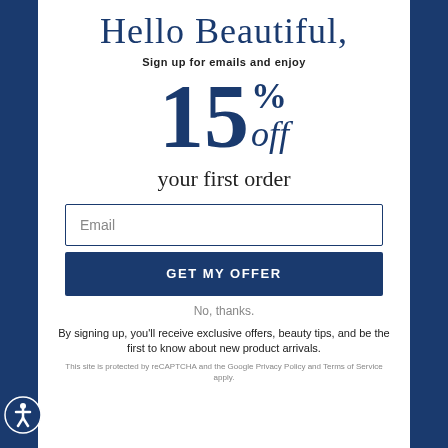Hello Beautiful,
Sign up for emails and enjoy
15% off your first order
Email
GET MY OFFER
No, thanks.
By signing up, you'll receive exclusive offers, beauty tips, and be the first to know about new product arrivals.
This site is protected by reCAPTCHA and the Google Privacy Policy and Terms of Service apply.